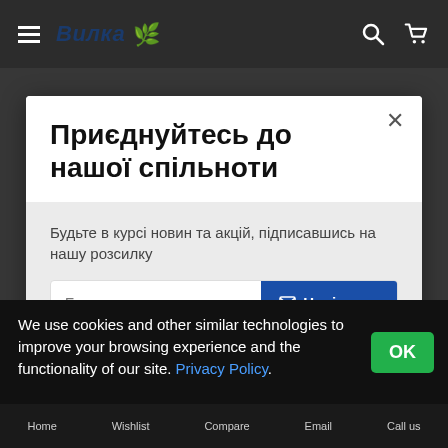Вилка — navigation bar with hamburger menu, brand logo, search and cart icons
Приєднуйтесь до нашої спільноти
Будьте в курсі новин та акцій, підписавшись на нашу розсилку
Електронна пошта  [Надіслати]
We use cookies and other similar technologies to improve your browsing experience and the functionality of our site. Privacy Policy.  OK
Home  Wishlist  Compare  Email  Call us